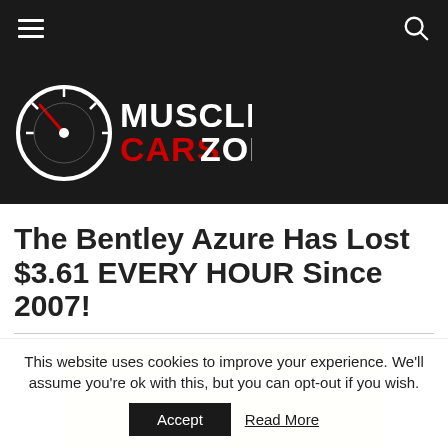Muscle Cars Zone - navigation bar
[Figure (logo): Muscle Cars Zone logo with speedometer icon on dark background]
The Bentley Azure Has Lost $3.61 EVERY HOUR Since 2007!
[Figure (other): Yellow advertisement placeholder box]
This website uses cookies to improve your experience. We'll assume you're ok with this, but you can opt-out if you wish.
Accept | Read More